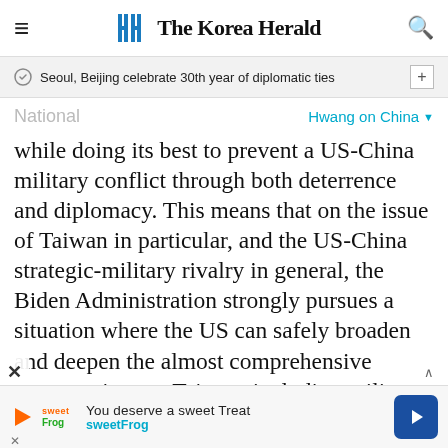The Korea Herald
Seoul, Beijing celebrate 30th year of diplomatic ties
National
Hwang on China
while doing its best to prevent a US-China military conflict through both deterrence and diplomacy. This means that on the issue of Taiwan in particular, and the US-China strategic-military rivalry in general, the Biden Administration strongly pursues a situation where the US can safely broaden and deepen the almost comprehensive support given to Taiwan, including military support. This g
[Figure (other): Advertisement banner for sweetFrog frozen yogurt at bottom of page]